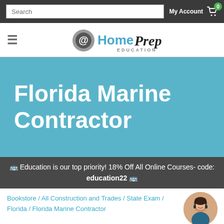Search | My Account | Cart 0
[Figure (logo): @HomePrep Education logo with navigation hamburger menu]
Florida Marine Contractor
🚌 Education is our top priority! 18% Off All Online Courses- code: education22 🚌
Bookstore / All Construction and Trades / State Exam / Florida / Florida Marine Contractor